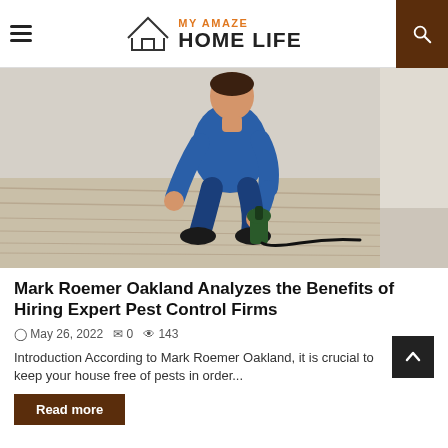MY AMAZE HOME LIFE
[Figure (photo): A pest control worker in blue uniform crouching on a wooden floor, holding a sprayer device near a white wall.]
Mark Roemer Oakland Analyzes the Benefits of Hiring Expert Pest Control Firms
May 26, 2022  0  143
Introduction According to Mark Roemer Oakland, it is crucial to keep your house free of pests in order...
Read more